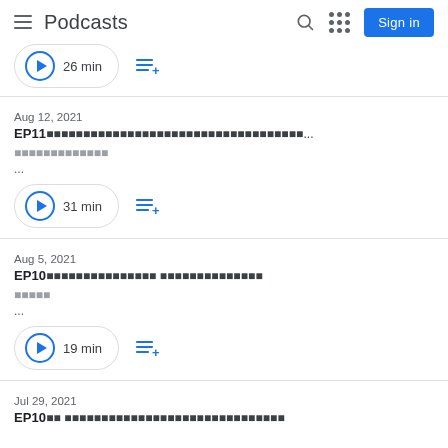Podcasts — header with hamburger menu, search, grid, Sign in
26 min — partial episode at top
Aug 12, 2021
EP11xxxxxxxxxxxxxxxxxxxxxxxxxxxxxxxx...
xxxxxxxxxxxxxxxxx
...
31 min
Aug 5, 2021
EP10xxxxxxxxxxxxxxxxxx xxxxxxxxxxxxxxxxxxxxxxxxx
xxxxxxx
...
19 min
Jul 29, 2021
EP10xxxxxxxxxxxxxxxxxxxxxxxxxxxxxxxx...